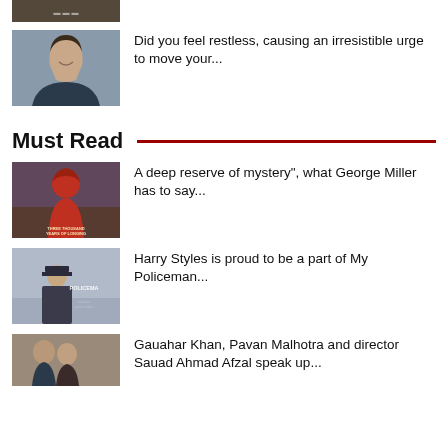[Figure (photo): Partial movie poster thumbnail at top of page (cropped)]
[Figure (photo): Portrait photo of a woman with dark hair, smiling, gray background]
Did you feel restless, causing an irresistible urge to move your...
Must Read
[Figure (photo): Movie poster for 'Three Thousand Years of Longing' showing a woman in red hood]
A deep reserve of mystery", what George Miller has to say...
[Figure (photo): Movie poster for 'My Policeman' showing Harry Styles in police uniform]
Harry Styles is proud to be a part of My Policeman...
[Figure (photo): Partial thumbnail at bottom of page (cropped)]
Gauahar Khan, Pavan Malhotra and director Sauad Ahmad Afzal speak up...